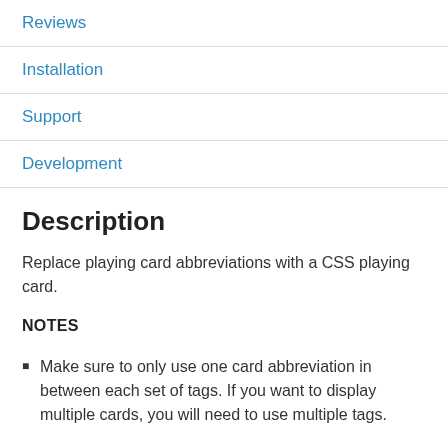Reviews
Installation
Support
Development
Description
Replace playing card abbreviations with a CSS playing card.
NOTES
Make sure to only use one card abbreviation in between each set of tags. If you want to display multiple cards, you will need to use multiple tags.